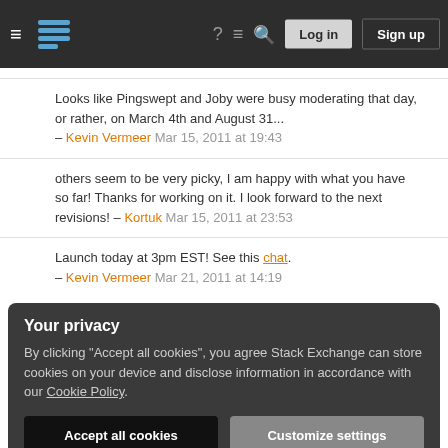Stack Exchange navigation header with Log in and Sign up buttons
Looks like Pingswept and Joby were busy moderating that day, or rather, on March 4th and August 31... – Kevin Vermeer Mar 15, 2011 at 19:43
others seem to be very picky, I am happy with what you have so far! Thanks for working on it. I look forward to the next revisions! – Kortuk Mar 15, 2011 at 23:53
Launch today at 3pm EST! See this chat. – Kevin Vermeer Mar 21, 2011 at 14:19
Your privacy
By clicking "Accept all cookies", you agree Stack Exchange can store cookies on your device and disclose information in accordance with our Cookie Policy.
Accept all cookies | Customize settings
There's been some discussion about the name